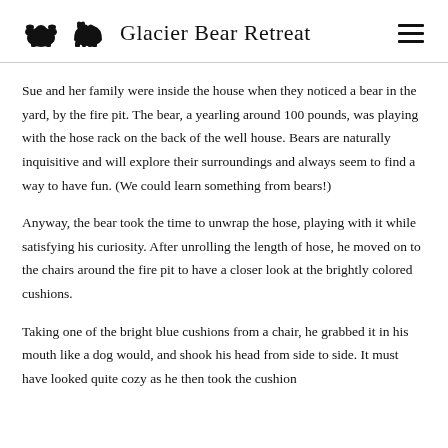Glacier Bear Retreat
Sue and her family were inside the house when they noticed a bear in the yard, by the fire pit. The bear, a yearling around 100 pounds, was playing with the hose rack on the back of the well house. Bears are naturally inquisitive and will explore their surroundings and always seem to find a way to have fun. (We could learn something from bears!)
Anyway, the bear took the time to unwrap the hose, playing with it while satisfying his curiosity. After unrolling the length of hose, he moved on to the chairs around the fire pit to have a closer look at the brightly colored cushions.
Taking one of the bright blue cushions from a chair, he grabbed it in his mouth like a dog would, and shook his head from side to side. It must have looked quite cozy as he then took the cushion